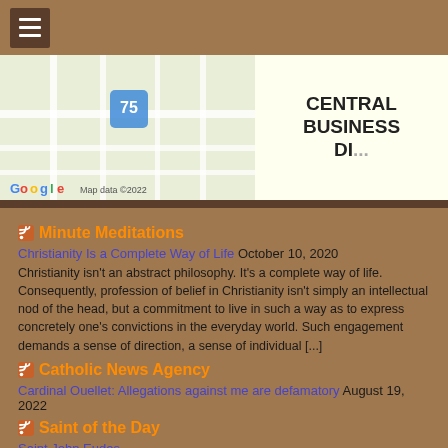[Figure (screenshot): Navigation hamburger menu icon in top-left corner on brown background]
[Figure (map): Google Maps screenshot showing Cincinnati Central Business District with street map and Google logo, Map data ©2022]
Minute Meditations
Christianity Is a Complete Way of Life October 10, 2020
Christianity isn't an abstract philosophy. It's a complete way of life. Consequently, profession of belief in Christianity isn't simply an intellectual nod of the head, but a commitment to live in such a way as to express concretely one's convictions in the everyday world. Such engagement demands a sense of direction, a sense of individual [...]
Catholic News Agency
Cardinal Ouellet: Allegations against me are defamatory August 19, 2022
Saint of the Day
Saint John Eudes
Image: Stained glass window in Saint-Pierre de Dourdain | photo by GO69 Saint of the Day for August 19 (November 14, 1601 - August 19, 1680) Click here to listen Saint John Eudes' Story How little we know where God's grace will lead. Born on a farm in northern France, John died at